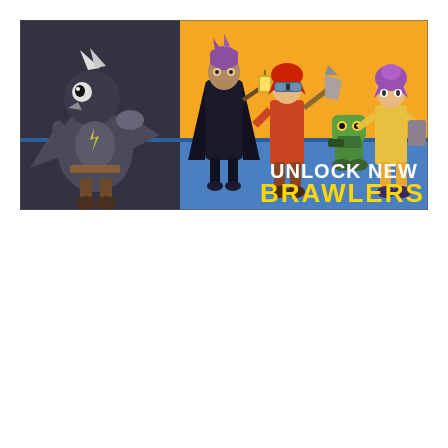[Figure (illustration): Brawl Stars promotional banner showing game characters. Left side has a large dark bird-like brawler character in action pose against a blue/grey background. Right side has a golden/yellow background featuring four brawler characters: a tall dark-robed figure with a lantern, a female character with an axe and goggles, a small robot/turret character, and a girl in a yellow outfit. Text reads 'UNLOCK NEW BRAWLERS' in white and gold bold font.]